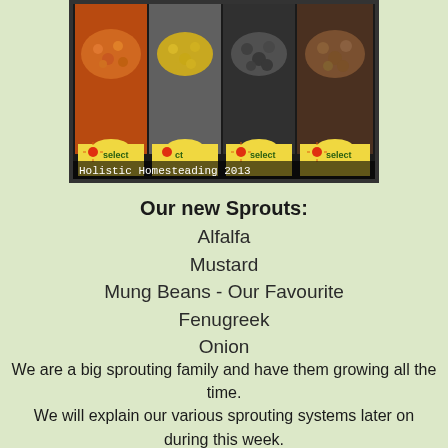[Figure (photo): Multiple seed packets with 'select' brand labels showing various sprouting seeds like lentils, chickpeas, and mung beans arranged side by side]
Holistic Homesteading 2013
Our new Sprouts:
Alfalfa
Mustard
Mung Beans - Our Favourite
Fenugreek
Onion
We are a big sprouting family and have them growing all the time.
We will explain our various sprouting systems later on during this week.